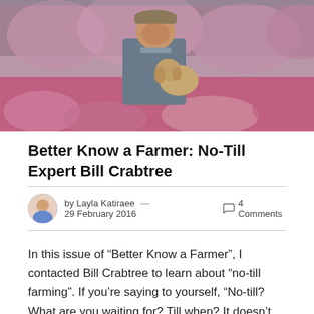[Figure (photo): A man wearing a cap and blue shirt holding a yellow Labrador puppy, standing in a field of pink flowers/blossoms]
Better Know a Farmer: No-Till Expert Bill Crabtree
by Layla Katiraee — 29 February 2016   4 Comments
In this issue of “Better Know a Farmer”, I contacted Bill Crabtree to learn about “no-till farming”. If you’re saying to yourself, “No-till? What are you waiting for? Till when? It doesn’t make sense” then you’re not alone. Bill has